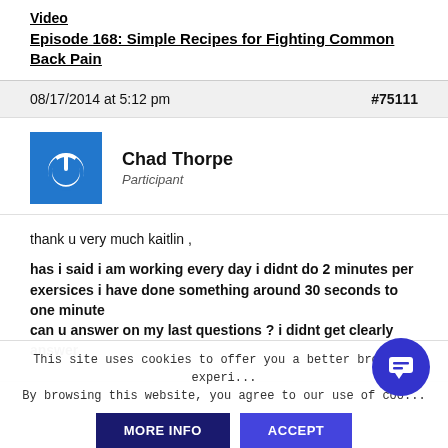Video
Episode 168: Simple Recipes for Fighting Common Back Pain
08/17/2014 at 5:12 pm  #75111
Chad Thorpe
Participant
thank u very much kaitlin ,

has i said i am working every day i didnt do 2 minutes per exersices i have done something around 30 seconds to one minute
can u answer on my last questions ? i didnt get clearly answer
This site uses cookies to offer you a better browsing experi...
By browsing this website, you agree to our use of coo...
MORE INFO    ACCEPT